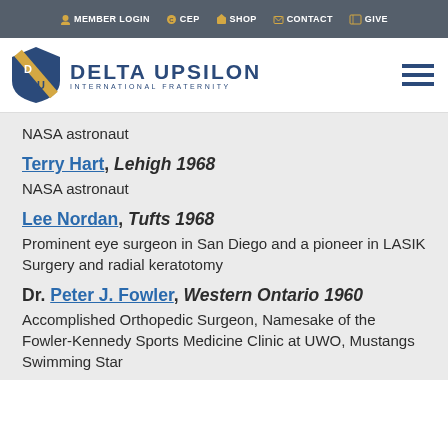MEMBER LOGIN  CEP  SHOP  CONTACT  GIVE
[Figure (logo): Delta Upsilon International Fraternity logo with shield icon and text]
NASA astronaut
Terry Hart, Lehigh 1968
NASA astronaut
Lee Nordan, Tufts 1968
Prominent eye surgeon in San Diego and a pioneer in LASIK Surgery and radial keratotomy
Dr. Peter J. Fowler, Western Ontario 1960
Accomplished Orthopedic Surgeon, Namesake of the Fowler-Kennedy Sports Medicine Clinic at UWO, Mustangs Swimming Star